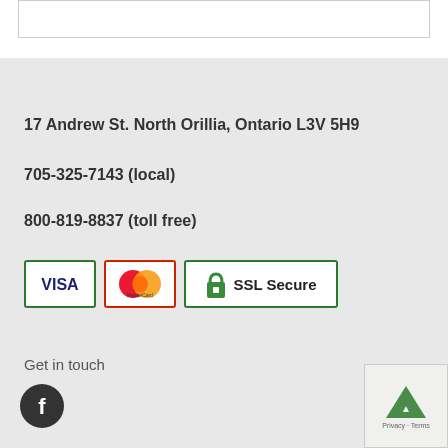17 Andrew St. North Orillia, Ontario L3V 5H9
705-325-7143 (local)
800-819-8837 (toll free)
[Figure (logo): Payment icons: VISA, MasterCard, and SSL Secure badge]
Get in touch
[Figure (logo): Facebook icon (dark circle with f)]
[Figure (logo): Back to top button with Privacy and Terms text]